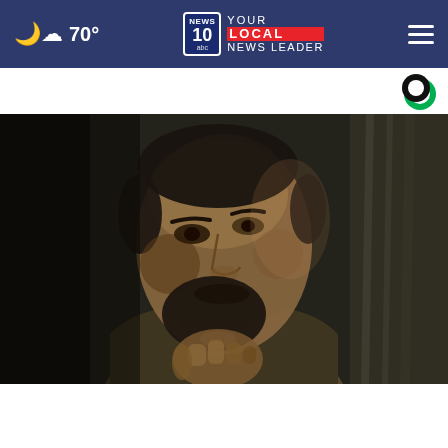70° | NEWS 10 abc YOUR LOCAL NEWS LEADER
AROUND THE WEB
[Figure (photo): A man with dark hair and beard, looking contemplative with his fist raised to his chin, photographed in low dramatic lighting against a dark background. Identified as Zelensky in accompanying headline.]
Zelensky: Russian troops at 'dead end'
Dine-in  Curbside pickup